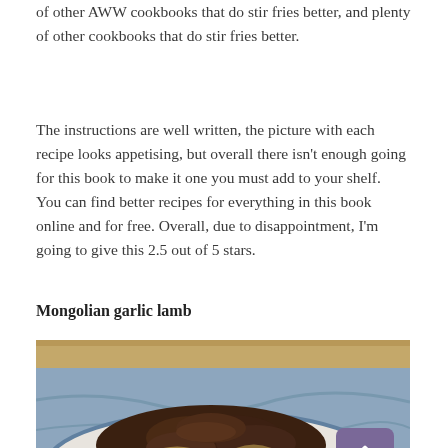of other AWW cookbooks that do stir fries better, and plenty of other cookbooks that do stir fries better.
The instructions are well written, the picture with each recipe looks appetising, but overall there isn't enough going for this book to make it one you must add to your shelf.  You can find better recipes for everything in this book online and for free. Overall, due to disappointment, I'm going to give this 2.5 out of 5 stars.
Mongolian garlic lamb
[Figure (photo): A photograph of Mongolian garlic lamb dish served on a white plate with blue rim, showing browned meat pieces and caramelised onions, set against a blue-toned background.]